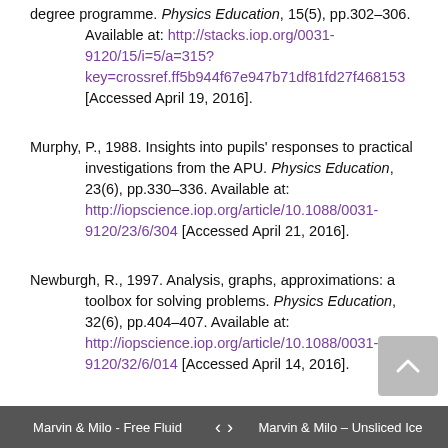degree programme. Physics Education, 15(5), pp.302–306. Available at: http://stacks.iop.org/0031-9120/15/i=5/a=315?key=crossref.ff5b944f67e947b71df81fd27f468153 [Accessed April 19, 2016].
Murphy, P., 1988. Insights into pupils' responses to practical investigations from the APU. Physics Education, 23(6), pp.330–336. Available at: http://iopscience.iop.org/article/10.1088/0031-9120/23/6/304 [Accessed April 21, 2016].
Newburgh, R., 1997. Analysis, graphs, approximations: a toolbox for solving problems. Physics Education, 32(6), pp.404–407. Available at: http://iopscience.iop.org/article/10.1088/0031-9120/32/6/014 [Accessed April 14, 2016].
Marvin & Milo - Free Fluid   < >   Marvin & Milo – Unsliced Ice